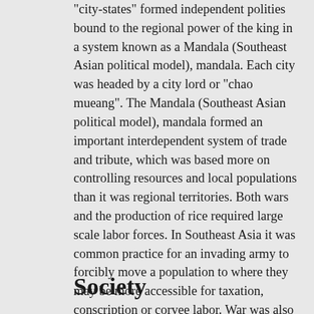"city-states" formed independent polities bound to the regional power of the king in a system known as a Mandala (Southeast Asian political model), mandala. Each city was headed by a city lord or "chao mueang". The Mandala (Southeast Asian political model), mandala formed an important interdependent system of trade and tribute, which was based more on controlling resources and local populations than it was regional territories. Both wars and the production of rice required large scale labor forces. In Southeast Asia it was common practice for an invading army to forcibly move a population to where they may be more accessible for taxation, conscription or corvee labor. War was also an important means of generating wealth via tribute, and it was not uncommon in the Mandala (Southeast Asian political model), mandala system to pay tribute to more than one regional power at a time.
Society